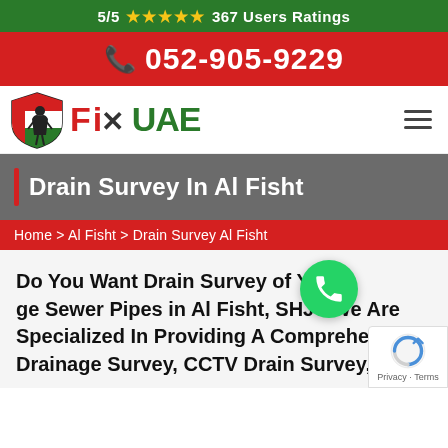5/5 ★★★★★ 367 Users Ratings
052-905-9229
[Figure (logo): Fix UAE logo with shield icon featuring UAE flag colors and a worker figure, with text 'Fix UAE' in red and green]
Drain Survey In Al Fisht
Home > Al Fisht > Drain Survey Al Fisht
Do You Want Drain Survey of Your Drainage Sewer Pipes in Al Fisht, SHJ? We Are Specialized In Providing A Comprehensive Drainage Survey, CCTV Drain Survey,